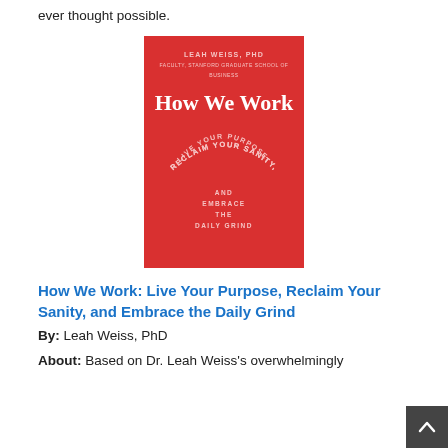ever thought possible.
[Figure (illustration): Book cover of 'How We Work: Live Your Purpose, Reclaim Your Sanity, and Embrace the Daily Grind' by Leah Weiss, PhD. Red background with white text.]
How We Work: Live Your Purpose, Reclaim Your Sanity, and Embrace the Daily Grind
By: Leah Weiss, PhD
About: Based on Dr. Leah Weiss's overwhelmingly